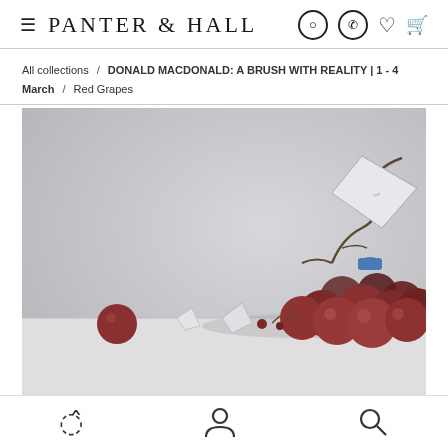PANTER & HALL
All collections / DONALD MACDONALD: A BRUSH WITH REALITY | 1 - 4 March / Red Grapes
[Figure (photo): Painting of red grapes with small white origami-like paper sculptures on a light grey background. A cluster of dark red grapes sits on the right, with individual grapes and small white folded paper shapes scattered to the left.]